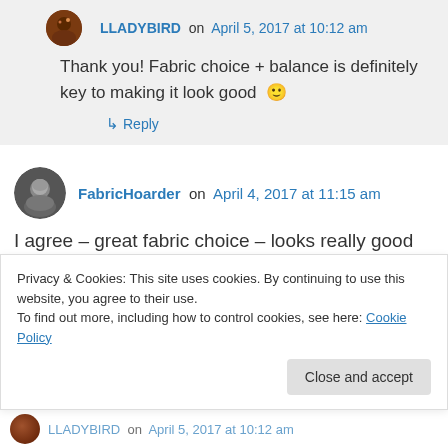LLADYBIRD on April 5, 2017 at 10:12 am
Thank you! Fabric choice + balance is definitely key to making it look good 🙂
↳ Reply
FabricHoarder on April 4, 2017 at 11:15 am
I agree – great fabric choice – looks really good
Privacy & Cookies: This site uses cookies. By continuing to use this website, you agree to their use.
To find out more, including how to control cookies, see here: Cookie Policy
Close and accept
LLADYBIRD on April 5, 2017 at 10:12 am